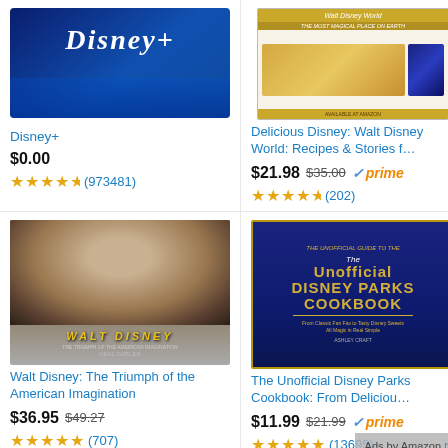[Figure (logo): Disney+ logo on blue gradient background]
Disney+
$0.00
★★★★½ (973481)
[Figure (photo): Walt Disney World cookbook cover with food images]
Delicious Disney: Walt Disney World: Recipes & Stories f…
$21.98  $35.00  ✓prime
★★★★½ (202)
[Figure (photo): Walt Disney biography book cover with portrait]
Walt Disney: The Triumph of the American Imagination
$36.95  $49.27
★★★★★ (707)
[Figure (photo): The Unofficial Disney Parks Cookbook cover in navy blue with gold lettering]
The Unofficial Disney Parks Cookbook: From Deliciou…
$11.99  $21.99  ✓prime
★★★★★ (13695)
Ads by Amazon ▷